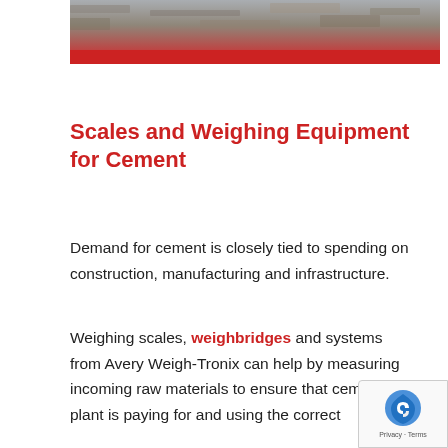[Figure (photo): Aerial or ground-level photograph of a construction/cement site with rocky/gravel terrain, partially visible at top of page, with a red banner bar at its bottom edge]
Scales and Weighing Equipment for Cement
Demand for cement is closely tied to spending on construction, manufacturing and infrastructure.
Weighing scales, weighbridges and systems from Avery Weigh-Tronix can help by measuring incoming raw materials to ensure that cement plant is paying for and using the correct